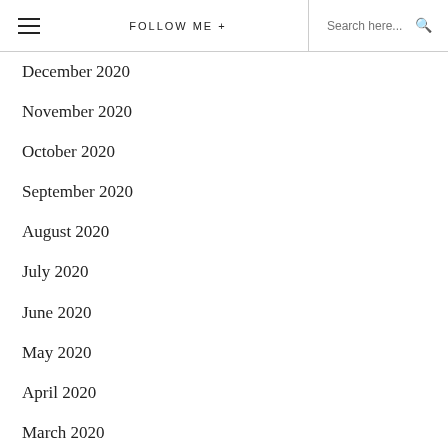≡  FOLLOW ME +   Search here...
December 2020
November 2020
October 2020
September 2020
August 2020
July 2020
June 2020
May 2020
April 2020
March 2020
February 2020
January 2020